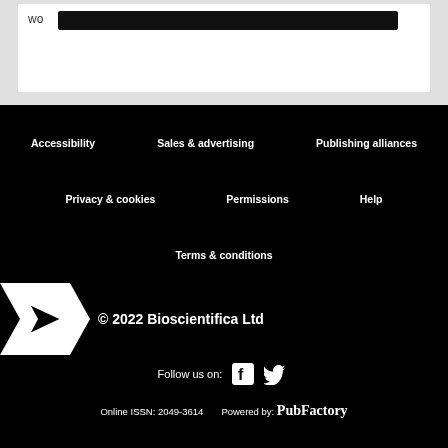[Figure (other): Top section showing partial content with redacted text bar on white background over grey area]
Accessibility   Sales & advertising   Publishing alliances   Privacy & cookies   Permissions   Help   Terms & conditions   © 2022 Bioscientifica Ltd   Follow us on:   Online ISSN: 2049-3614   Powered by: PubFactory